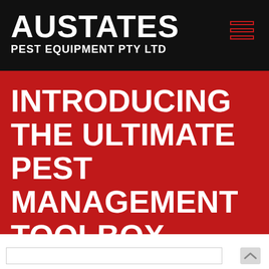AUSTATES PEST EQUIPMENT PTY LTD
INTRODUCING THE ULTIMATE PEST MANAGEMENT TOOLBOX